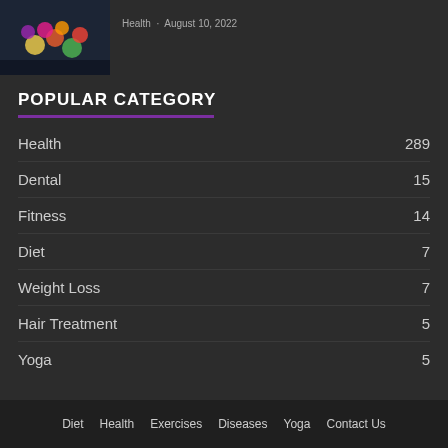[Figure (photo): Small thumbnail image of colorful gummies or candy on a dark background]
August 10, 2022
POPULAR CATEGORY
Health 289
Dental 15
Fitness 14
Diet 7
Weight Loss 7
Hair Treatment 5
Yoga 5
Diet   Health   Exercises   Diseases   Yoga   Contact Us